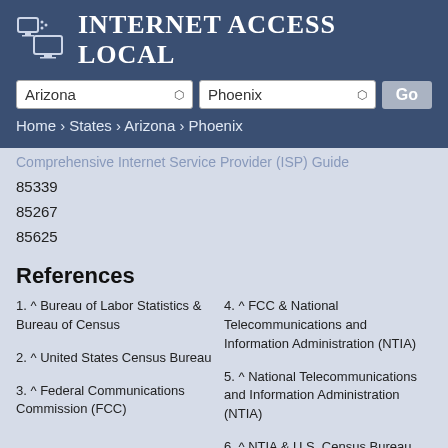Internet Access Local
Arizona | Phoenix
Home › States › Arizona › Phoenix
Comprehensive Internet Service Provider (ISP) Guide
85339
85267
85625
References
1. ^ Bureau of Labor Statistics & Bureau of Census
2. ^ United States Census Bureau
3. ^ Federal Communications Commission (FCC)
4. ^ FCC & National Telecommunications and Information Administration (NTIA)
5. ^ National Telecommunications and Information Administration (NTIA)
6. ^ NTIA & U.S. Census Bureau